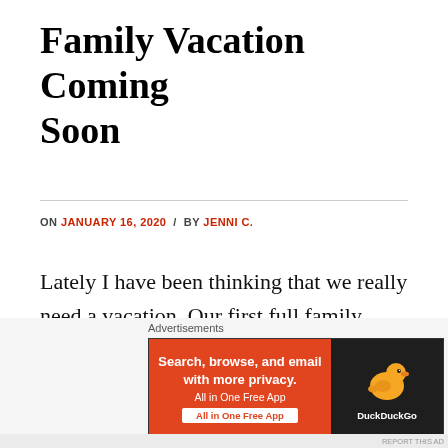Family Vacation Coming Soon
ON JANUARY 16, 2020 / BY JENNI C.
Lately I have been thinking that we really need a vacation. Our first full family vacation. I’m open to ideas on great vacation spots that would be fun with an infant.
I want to go back to Disney or Universal Studios but I
[Figure (screenshot): DuckDuckGo advertisement banner: orange section with text 'Search, browse, and email with more privacy. All in One Free App' and dark section with DuckDuckGo duck logo and 'DuckDuckGo' text]